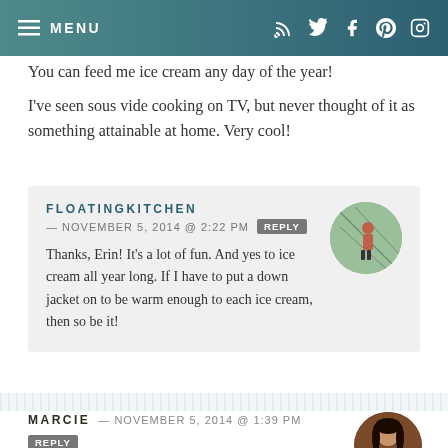MENU
You can feed me ice cream any day of the year!
I've seen sous vide cooking on TV, but never thought of it as something attainable at home. Very cool!
FLOATINGKITCHEN — NOVEMBER 5, 2014 @ 2:22 PM REPLY
Thanks, Erin! It's a lot of fun. And yes to ice cream all year long. If I have to put a down jacket on to be warm enough to each ice cream, then so be it!
MARCIE — NOVEMBER 5, 2014 @ 1:39 PM REPLY
I always eat ice cream, Liz — the cold can't keep